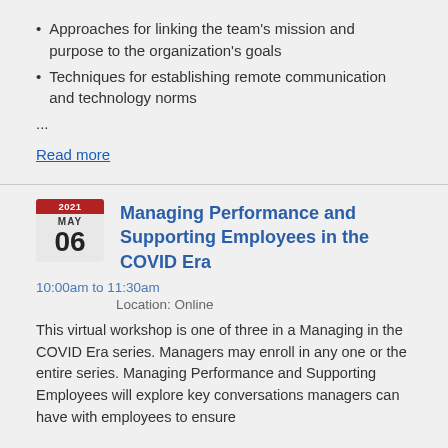Approaches for linking the team's mission and purpose to the organization's goals
Techniques for establishing remote communication and technology norms
...
Read more
Managing Performance and Supporting Employees in the COVID Era
10:00am to 11:30am
Location: Online
This virtual workshop is one of three in a Managing in the COVID Era series. Managers may enroll in any one or the entire series. Managing Performance and Supporting Employees will explore key conversations managers can have with employees to ensure